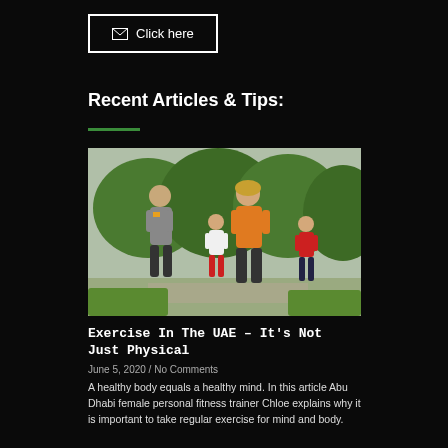[Figure (other): Email subscription button with envelope icon and text 'Click here', white border on black background]
Recent Articles & Tips:
[Figure (photo): A family of four jogging together outdoors on a path with green trees in the background. Man in gray shirt, woman in orange top, two children.]
Exercise In The UAE – It's Not Just Physical
June 5, 2020 / No Comments
A healthy body equals a healthy mind. In this article Abu Dhabi female personal fitness trainer Chloe explains why it is important to take regular exercise for mind and body.